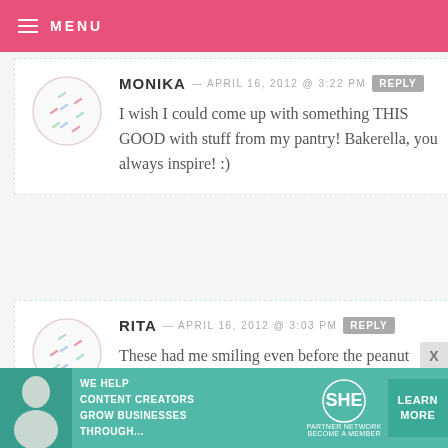MENU
MONIKA — APRIL 16, 2012 @ 3:22 PM REPLY
I wish I could come up with something THIS GOOD with stuff from my pantry! Bakerella, you always inspire! :)
RITA — APRIL 16, 2012 @ 3:03 PM REPLY
These had me smiling even before the peanut butter brownie face ;-)
[Figure (infographic): SHE Partner Network advertisement banner - We help content creators grow businesses through...]